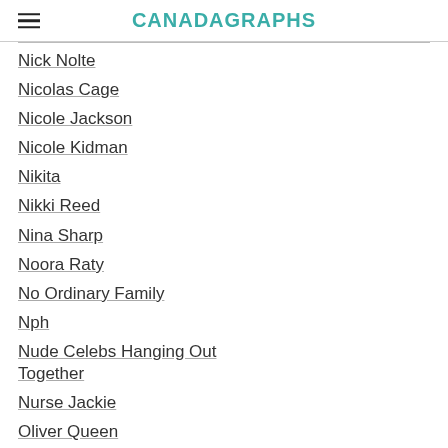CANADAGRAPHS
Nick Nolte
Nicolas Cage
Nicole Jackson
Nicole Kidman
Nikita
Nikki Reed
Nina Sharp
Noora Raty
No Ordinary Family
Nph
Nude Celebs Hanging Out Together
Nurse Jackie
Oliver Queen